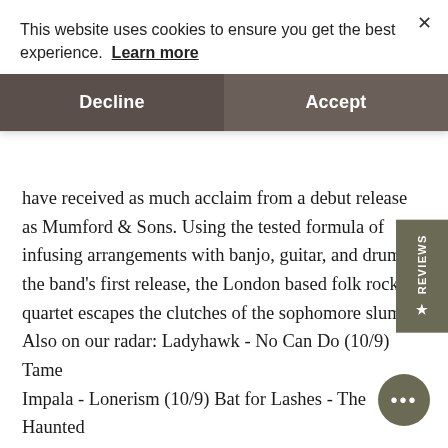This website uses cookies to ensure you get the best experience. Learn more
Decline
Accept
have received as much acclaim from a debut release as Mumford & Sons. Using the tested formula of infusing arrangements with banjo, guitar, and drums the band's first release, the London based folk rock quartet escapes the clutches of the sophomore slum Also on our radar: Ladyhawk - No Can Do (10/9) Tame Impala - Lonerism (10/9) Bat for Lashes - The Haunted Man (10/23) Of Montreal - Daughter of Cloud (10/23) Hercules and Love Affair - DJ-Kicks (10/30) Neil Young & Crazy Horse - Psychedelic Pill (10/30) Talib Kweli - Prisoner of Conscious (11/6) Big Boi - Vicious Lies & Dangerous Rumors (11/13) Sonic Youth - Smart Bar